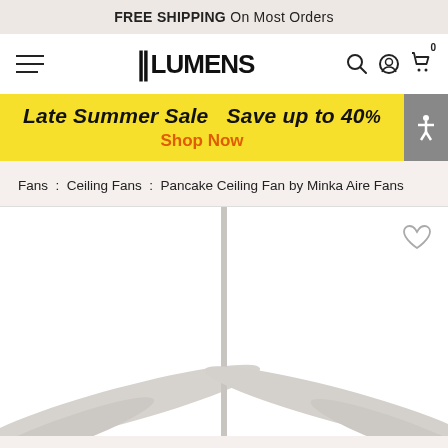FREE SHIPPING On Most Orders
[Figure (logo): Lumens logo with hamburger menu, search, account, and cart icons]
[Figure (infographic): Yellow promo banner: Late Summer Sale - Save up to 40% - Shop Now]
Fans : Ceiling Fans : Pancake Ceiling Fan by Minka Aire Fans
[Figure (photo): Product photo of Pancake Ceiling Fan by Minka Aire Fans showing fan blades, split view with divider line and heart/wishlist icon]